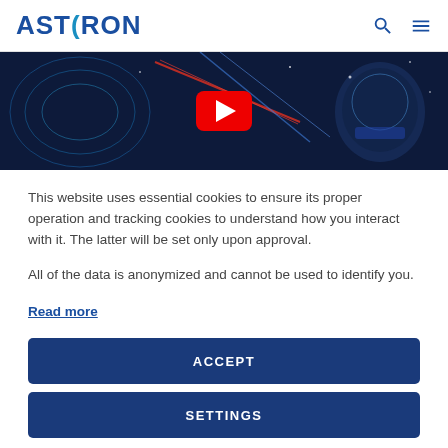ASTRON
[Figure (screenshot): Video thumbnail showing a dark blue science-themed background with laser beams, a robotic head figure, and a large red YouTube play button in the center]
This website uses essential cookies to ensure its proper operation and tracking cookies to understand how you interact with it. The latter will be set only upon approval.
All of the data is anonymized and cannot be used to identify you.
Read more
ACCEPT
SETTINGS